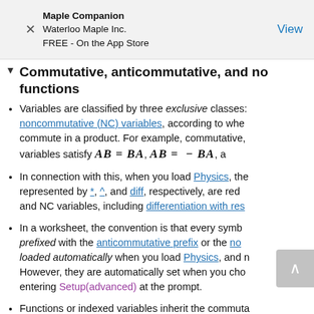Maple Companion
Waterloo Maple Inc.
FREE - On the App Store
View
Commutative, anticommutative, and non... functions
Variables are classified by three exclusive classes: noncommutative (NC) variables, according to whe... commute in a product. For example, commutative, variables satisfy AB = BA, AB = − BA, a...
In connection with this, when you load Physics, the... represented by *, ^, and diff, respectively, are red... and NC variables, including differentiation with res...
In a worksheet, the convention is that every symbe... prefixed with the anticommutative prefix or the no... loaded automatically when you load Physics, and n... However, they are automatically set when you cho... entering Setup(advanced) at the prompt.
Functions or indexed variables inherit the commuta...